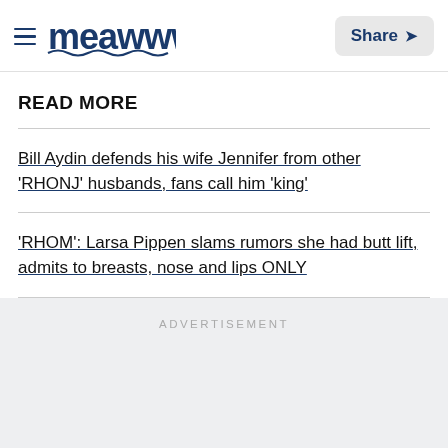meaww — Share
READ MORE
Bill Aydin defends his wife Jennifer from other 'RHONJ' husbands, fans call him 'king'
'RHOM': Larsa Pippen slams rumors she had butt lift, admits to breasts, nose and lips ONLY
ADVERTISEMENT